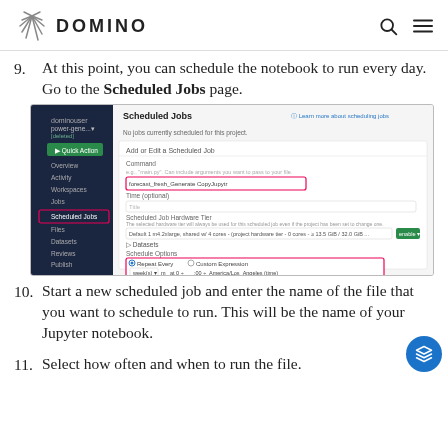DOMINO
9. At this point, you can schedule the notebook to run every day. Go to the Scheduled Jobs page.
[Figure (screenshot): Screenshot of Domino platform showing the Scheduled Jobs page with options to add or edit a scheduled job, including command field, time zone, hardware tier, schedule options with Repeat Every and Custom Expression radio buttons, and Run sequentially/Run concurrently options.]
10. Start a new scheduled job and enter the name of the file that you want to schedule to run. This will be the name of your Jupyter notebook.
11. Select how often and when to run the file.